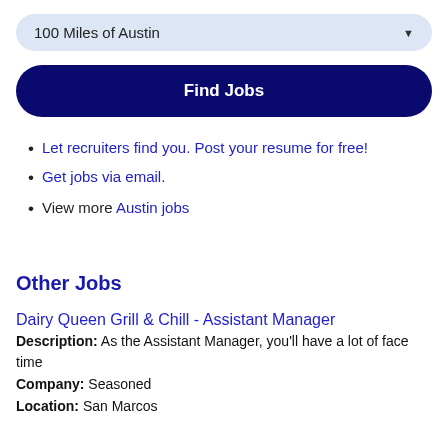100 Miles of Austin
Find Jobs
Let recruiters find you. Post your resume for free!
Get jobs via email.
View more Austin jobs
Other Jobs
Dairy Queen Grill & Chill - Assistant Manager
Description: As the Assistant Manager, you'll have a lot of face time
Company: Seasoned
Location: San Marcos